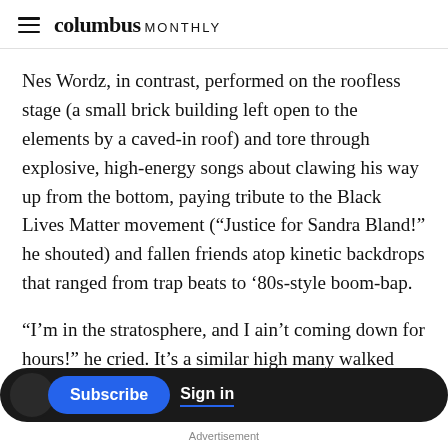columbus MONTHLY
Nes Wordz, in contrast, performed on the roofless stage (a small brick building left open to the elements by a caved-in roof) and tore through explosive, high-energy songs about clawing his way up from the bottom, paying tribute to the Black Lives Matter movement (“Justice for Sandra Bland!” he shouted) and fallen friends atop kinetic backdrops that ranged from trap beats to ’80s-style boom-bap.
“I’m in the stratosphere, and I ain’t coming down for hours!” he cried. It’s a similar high many walked away with as the inaugural 2x2 drew to a
Advertisement